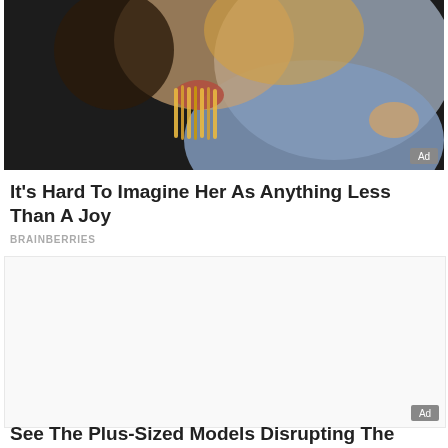[Figure (photo): A woman eating spaghetti or noodles, close-up shot. An 'Ad' badge appears in the lower right corner of the image.]
It's Hard To Imagine Her As Anything Less Than A Joy
BRAINBERRIES
[Figure (photo): Large blank/white advertisement placeholder area with an 'Ad' badge in the lower right corner.]
See The Plus-Sized Models Disrupting The